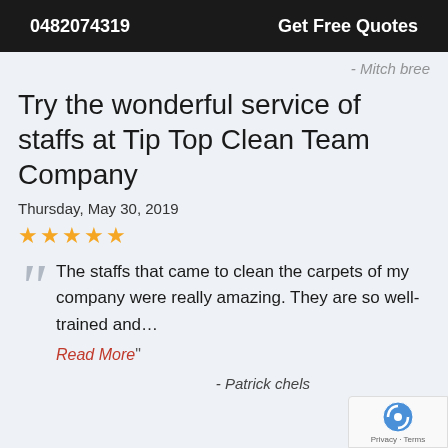0482074319   Get Free Quotes
- Mitch bree
Try the wonderful service of staffs at Tip Top Clean Team Company
Thursday, May 30, 2019
★★★★★
The staffs that came to clean the carpets of my company were really amazing. They are so well-trained and... Read More"
- Patrick chels